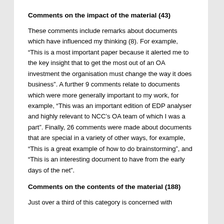Comments on the impact of the material (43)
These comments include remarks about documents which have influenced my thinking (8). For example, “This is a most important paper because it alerted me to the key insight that to get the most out of an OA investment the organisation must change the way it does business”. A further 9 comments relate to documents which were more generally important to my work, for example, “This was an important edition of EDP analyser and highly relevant to NCC’s OA team of which I was a part”. Finally, 26 comments were made about documents that are special in a variety of other ways, for example, “This is a great example of how to do brainstorming”, and “This is an interesting document to have from the early days of the net”.
Comments on the contents of the material (188)
Just over a third of this category is concerned with